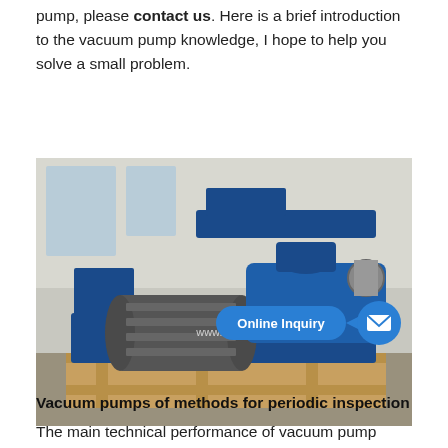pump, please contact us. Here is a brief introduction to the vacuum pump knowledge, I hope to help you solve a small problem.
[Figure (photo): A large blue industrial vacuum pump mounted on a wooden pallet in a factory setting. The pump has a prominent electric motor (gray) and blue housing with large inlet/outlet ports. An overlay shows a blue 'Online Inquiry' button with an envelope icon and the watermark text 'www.evpv...']
Vacuum pumps of methods for periodic inspection
The main technical performance of vacuum pump (vacuum